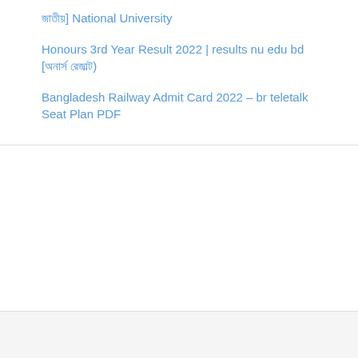জাতীয়] National University
Honours 3rd Year Result 2022 | results nu edu bd [অনার্স রেজাল্ট)
Bangladesh Railway Admit Card 2022 – br teletalk Seat Plan PDF